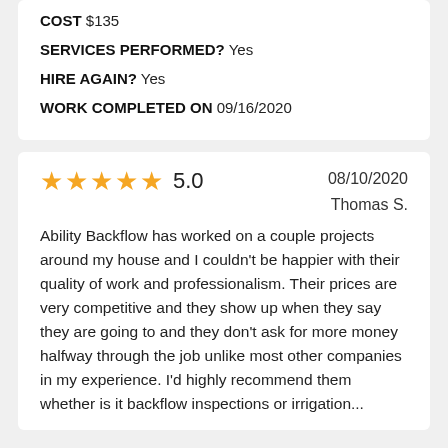COST $135
SERVICES PERFORMED? Yes
HIRE AGAIN? Yes
WORK COMPLETED ON 09/16/2020
5.0   08/10/2020   Thomas S.
Ability Backflow has worked on a couple projects around my house and I couldn’t be happier with their quality of work and professionalism. Their prices are very competitive and they show up when they say they are going to and they don’t ask for more money halfway through the job unlike most other companies in my experience. I’d highly recommend them whether is it backflow inspections or irrigation...